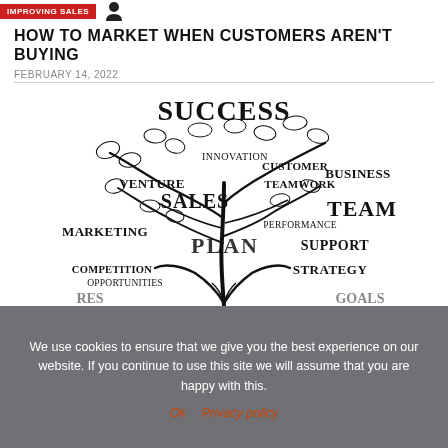IMPROVING SALES
HOW TO MARKET WHEN CUSTOMERS AREN'T BUYING
FEBRUARY 14, 2022
[Figure (illustration): A tree illustration with business-related words arranged as branches and leaves. Words include: SUCCESS (top), INNOVATION, VENTURE, CUSTOMER, BUSINESS, TEAMWORK, SALES, TEAM, MARKETING, PERFORMANCE, PLAN, SUPPORT, COMPETITION, OPPORTUNITIES, STRATEGY]
We use cookies to ensure that we give you the best experience on our website. If you continue to use this site we will assume that you are happy with this.
Ok  Privacy policy